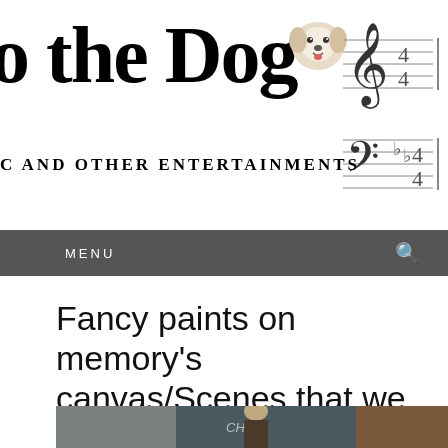o the Dog — Music and Other Entertainments
Fancy paints on memory's canvas/Scenes that we hold dear
[Figure (photo): Partial view of a person standing in front of a chalkboard with writing on it]